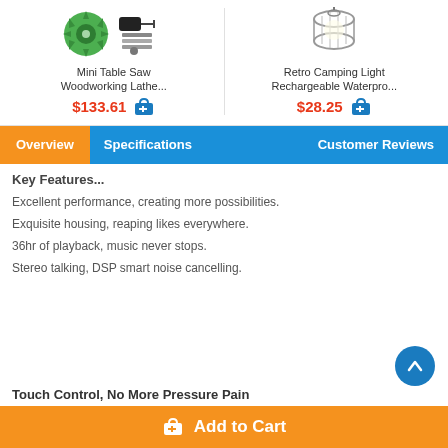[Figure (photo): Mini Table Saw product image with circular blade and accessories]
Mini Table Saw Woodworking Lathe...
$133.61
[Figure (photo): Retro Camping Light product image showing a wire cage lamp]
Retro Camping Light Rechargeable Waterpro...
$28.25
Overview | Specifications | Customer Reviews
Key Features...
Excellent performance, creating more possibilities.
Exquisite housing, reaping likes everywhere.
36hr of playback, music never stops.
Stereo talking, DSP smart noise cancelling.
Touch Control, No More Pressure Pain
Add to Cart